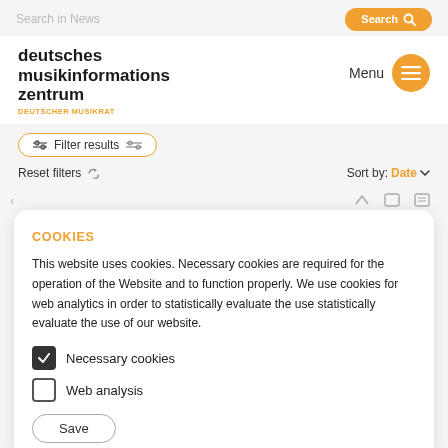Search in News
deutsches musikinformations zentrum
DEUTSCHER MUSIKRAT
Filter results   Menu
Reset filters   Sort by: Date
COOKIES
This website uses cookies. Necessary cookies are required for the operation of the Website and to function properly. We use cookies for web analytics in order to statistically evaluate the use statistically evaluate the use of our website.
Necessary cookies
Web analysis
Save